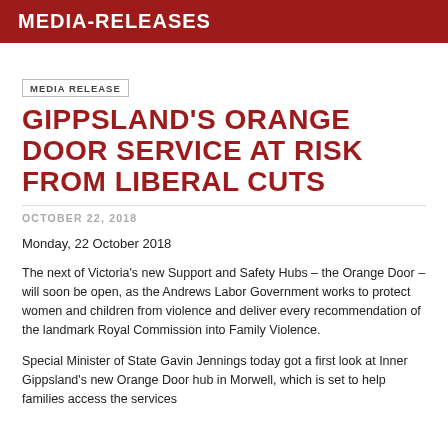MEDIA-RELEASES
MEDIA RELEASE
GIPPSLAND'S ORANGE DOOR SERVICE AT RISK FROM LIBERAL CUTS
OCTOBER 22, 2018
Monday, 22 October 2018
The next of Victoria's new Support and Safety Hubs – the Orange Door – will soon be open, as the Andrews Labor Government works to protect women and children from violence and deliver every recommendation of the landmark Royal Commission into Family Violence.
Special Minister of State Gavin Jennings today got a first look at Inner Gippsland's new Orange Door hub in Morwell, which is set to help families access the services